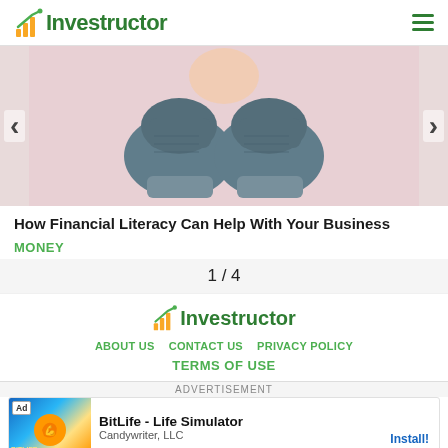Investructor
[Figure (photo): Person wearing grey knit mittens, hands pressed together, pink background]
How Financial Literacy Can Help With Your Business
MONEY
1 / 4
[Figure (logo): Investructor logo with bar chart icon]
ABOUT US   CONTACT US   PRIVACY POLICY
TERMS OF USE
ADVERTISEMENT
BitLife - Life Simulator
Candywriter, LLC
Install!